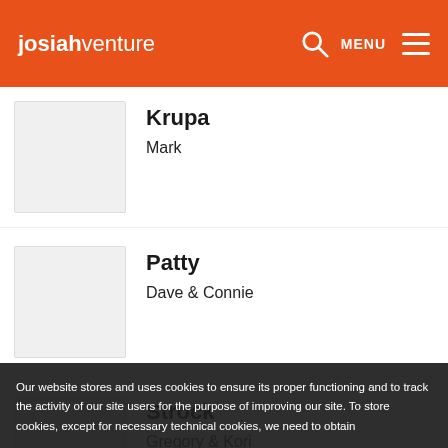josiahventure — MENU
Krupa — Mark
Patty — Dave & Connie
Strock — Gregory & Kori
Our website stores and uses cookies to ensure its proper functioning and to track the activity of our site users for the purpose of improving our site. To store cookies, except for necessary technical cookies, we need to obtain